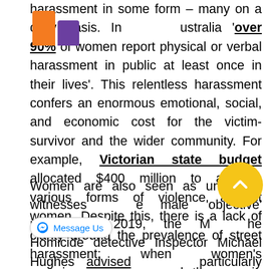harassment in some form – many on a daily basis. In Australia 'over 90% of women report physical or verbal harassment in public at least once in their lives'. This relentless harassment confers an enormous emotional, social, and economic cost for the victim-survivor and the wider community. For example, Victorian state budget allocated $400 million to address various forms of violence against women. Despite this, there is a lack of clarity around the prevalence of street harassment; when women's experiences are unnamed, they remain 'a dubious reality in the eyes of others'.
Women are also seen as unreliable witnesses to the male 'objective' reality. In 2019, the Melbourne Homicide detective Inspector Michael Hughes advised that people, particularly females...shouldn't be alone in parks' in response to the murder of a young woman